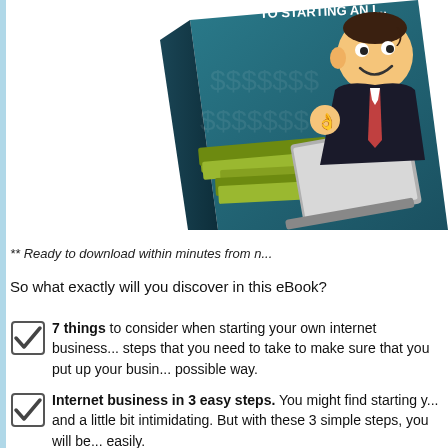[Figure (illustration): Book cover showing a cartoon businessman holding a laptop with stacks of money, teal background, partial text 'TO STARTING AN I...' at top]
** Ready to download within minutes from n...
So what exactly will you discover in this eBook?
7 things to consider when starting your own internet business... steps that you need to take to make sure that you put up your busin... possible way.
Internet business in 3 easy steps. You might find starting y... and a little bit intimidating. But with these 3 simple steps, you will be... easily.